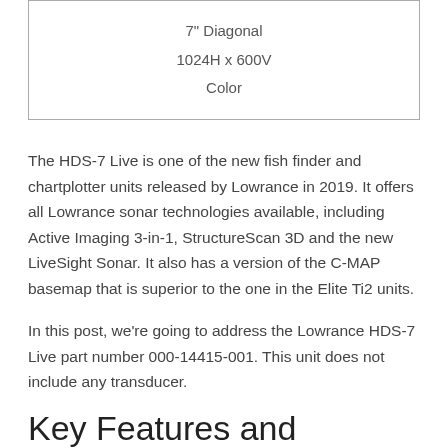| 7" Diagonal |
| 1024H x 600V |
| Color |
The HDS-7 Live is one of the new fish finder and chartplotter units released by Lowrance in 2019. It offers all Lowrance sonar technologies available, including Active Imaging 3-in-1, StructureScan 3D and the new LiveSight Sonar. It also has a version of the C-MAP basemap that is superior to the one in the Elite Ti2 units.
In this post, we're going to address the Lowrance HDS-7 Live part number 000-14415-001. This unit does not include any transducer.
Key Features and